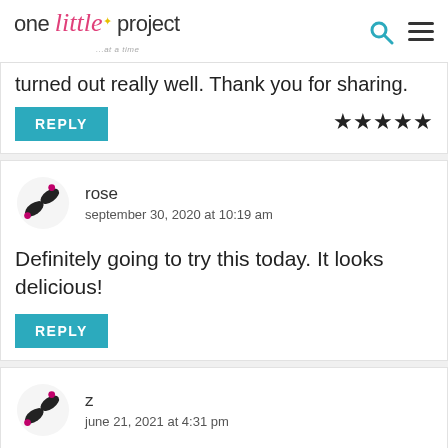one little project ...at a time
turned out really well. Thank you for sharing.
REPLY
★★★★★
rose
september 30, 2020 at 10:19 am
Definitely going to try this today. It looks delicious!
REPLY
z
june 21, 2021 at 4:31 pm
[Figure (screenshot): Royal Canin advertisement banner: 'SUPPORT THEIR HEALTH AT EVERY STAGE' with PetSmart branding and cat food images]
Thes... ovr...